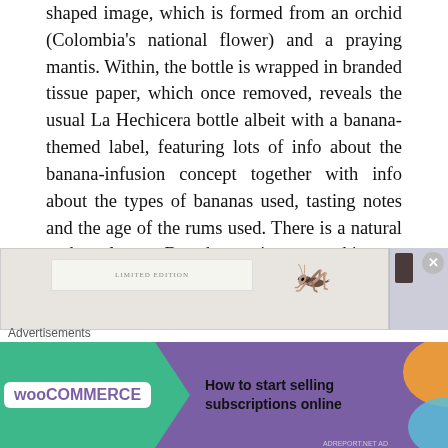shaped image, which is formed from an orchid (Colombia's national flower) and a praying mantis. Within, the bottle is wrapped in branded tissue paper, which once removed, reveals the usual La Hechicera bottle albeit with a banana-themed label, featuring lots of info about the banana-infusion concept together with info about the types of bananas used, tasting notes and the age of the rums used. There is a natural cork enclosure. But, the one important thing we are not told, is the source of the rum i.e. which distillery is used.
[Figure (photo): Partial view of product images: a bottle with 'LIMITED EDITION' label, a praying mantis figure, and a dark rectangular object. An X close button appears in the top right of the rightmost image panel.]
Advertisements
[Figure (screenshot): WooCommerce advertisement banner with teal/green arrow shape on purple background. Text reads 'How to start selling subscriptions online'. Orange decorative shape on right side.]